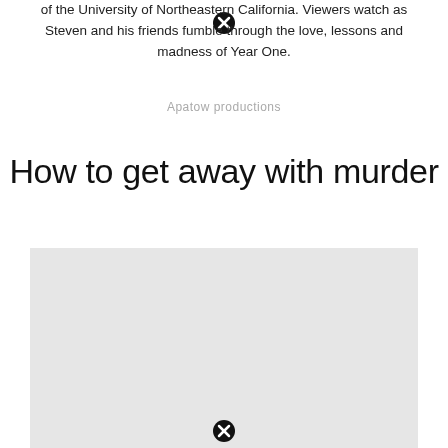of the University of Northeastern California. Viewers watch as Steven and his friends fumble through the love, lessons and madness of Year One.
Apatow productions
How to get away with murder
[Figure (photo): Light gray placeholder image rectangle]